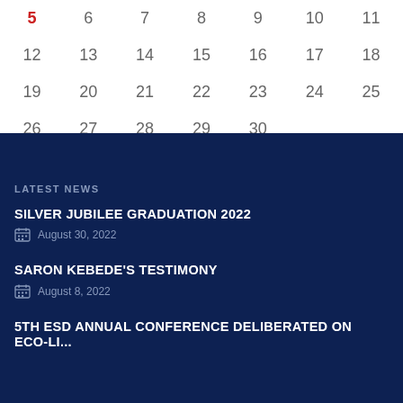| 5 | 6 | 7 | 8 | 9 | 10 | 11 |
| 12 | 13 | 14 | 15 | 16 | 17 | 18 |
| 19 | 20 | 21 | 22 | 23 | 24 | 25 |
| 26 | 27 | 28 | 29 | 30 |  |  |
LATEST NEWS
SILVER JUBILEE GRADUATION 2022
August 30, 2022
SARON KEBEDE'S TESTIMONY
August 8, 2022
5TH ESD ANNUAL CONFERENCE DELIBERATED ON ECO-LI...